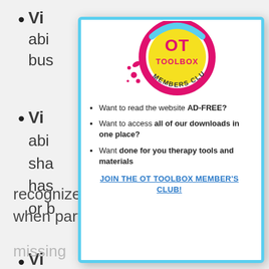Vi… abi… bus…
Vi… abi… sha… has… or b…
Vi…
recognize a form or object when part of the picture is
missing
[Figure (logo): OT Toolbox Members Club circular logo with yellow and magenta/pink colors]
Want to read the website AD-FREE?
Want to access all of our downloads in one place?
Want done for you therapy tools and materials
JOIN THE OT TOOLBOX MEMBER'S CLUB!